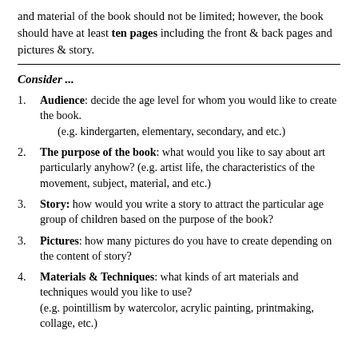and material of the book should not be limited; however, the book should have at least ten pages including the front & back pages and pictures & story.
Consider ...
Audience: decide the age level for whom you would like to create the book. (e.g. kindergarten, elementary, secondary, and etc.)
The purpose of the book: what would you like to say about art particularly anyhow? (e.g. artist life, the characteristics of the movement, subject, material, and etc.)
Story: how would you write a story to attract the particular age group of children based on the purpose of the book?
Pictures: how many pictures do you have to create depending on the content of story?
Materials & Techniques: what kinds of art materials and techniques would you like to use? (e.g. pointillism by watercolor, acrylic painting, printmaking, collage, etc.)